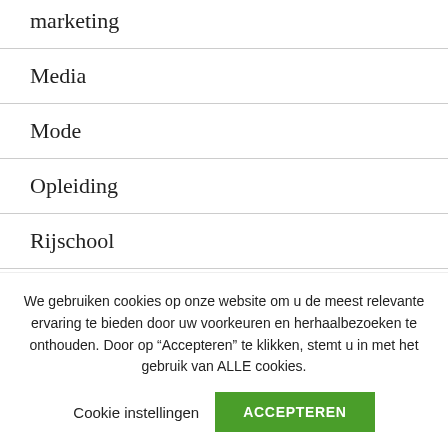marketing
Media
Mode
Opleiding
Rijschool
Sanitair
We gebruiken cookies op onze website om u de meest relevante ervaring te bieden door uw voorkeuren en herhaalbezoeken te onthouden. Door op “Acepteren” te klikken, stemt u in met het gebruik van ALLE cookies.
Cookie instellingen
ACCEPTEREN